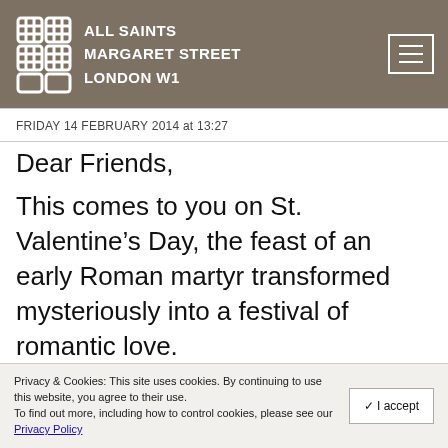ALL SAINTS MARGARET STREET LONDON W1
FRIDAY 14 FEBRUARY 2014 at 13:27
Dear Friends,
This comes to you on St. Valentine’s Day, the feast of an early Roman martyr transformed mysteriously into a festival of romantic love.
Privacy & Cookies: This site uses cookies. By continuing to use this website, you agree to their use. To find out more, including how to control cookies, please see our Privacy Policy